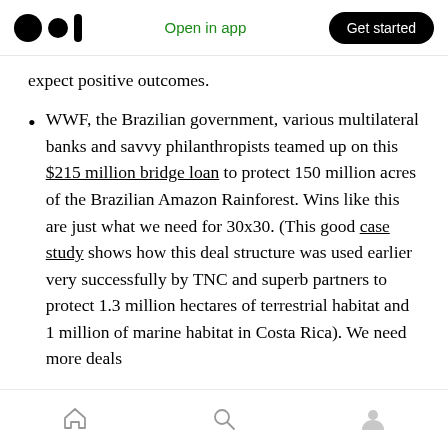Open in app | Get started
expect positive outcomes.
WWF, the Brazilian government, various multilateral banks and savvy philanthropists teamed up on this $215 million bridge loan to protect 150 million acres of the Brazilian Amazon Rainforest. Wins like this are just what we need for 30x30. (This good case study shows how this deal structure was used earlier very successfully by TNC and superb partners to protect 1.3 million hectares of terrestrial habitat and 1 million of marine habitat in Costa Rica). We need more deals
Home | Search | Profile